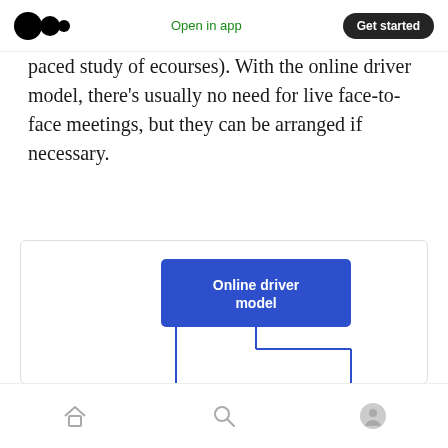Medium logo | Open in app | Get started
paced study of ecourses). With the online driver model, there's usually no need for live face-to-face meetings, but they can be arranged if necessary.
[Figure (flowchart): Online driver model diagram showing a main blue box labeled 'Online driver model' connected by lines and an arrow to a circle on the left (with house/video chat icon, highlighted in light blue) and to a horizontal bracket connecting a laptop/person icon circle plus a document/people icon circle.]
Navigation bar with home, search, and profile icons